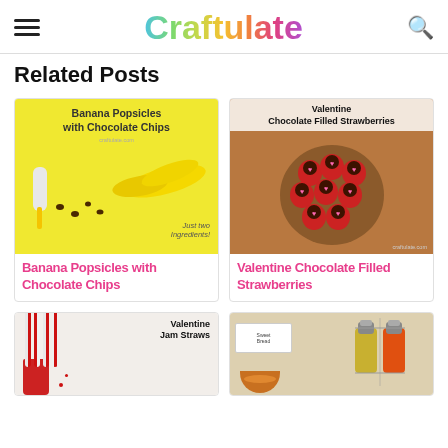Craftulate
Related Posts
[Figure (photo): Banana Popsicles with Chocolate Chips recipe card image on yellow background with bananas and popsicle]
Banana Popsicles with Chocolate Chips
[Figure (photo): Valentine Chocolate Filled Strawberries on a wooden board with chocolate-filled strawberries topped with pink hearts]
Valentine Chocolate Filled Strawberries
[Figure (photo): Valentine Jam Straws with candy cane-striped straws in a glass jar]
[Figure (photo): Food ingredients with spice shakers and bowl]